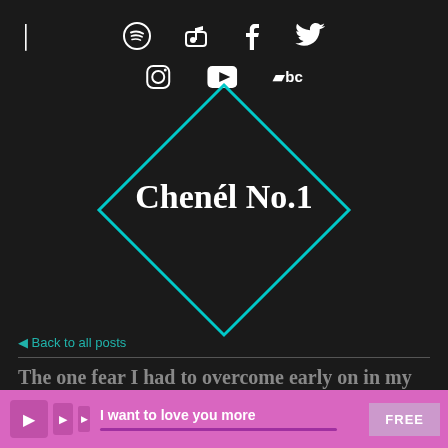[Figure (logo): Chenel No.1 website header with social media icons (Spotify, Apple Music, Facebook, Twitter, Instagram, YouTube, Bandcamp) arranged around a teal diamond shape containing the brand name 'Chenel No.1' in white bold serif text on dark background]
◂ Back to all posts
The one fear I had to overcome early on in my music
I want to love you more FREE